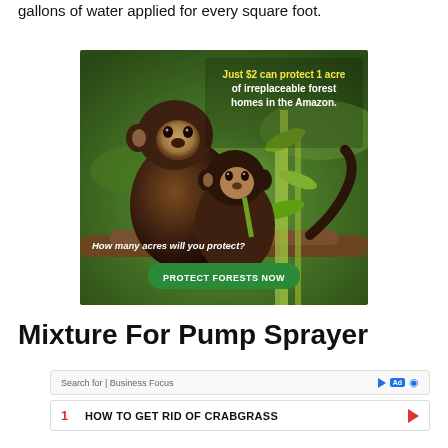gallons of water applied for every square foot.
[Figure (photo): Advertisement showing two monkeys (capuchins) in a jungle setting with text 'Just $2 can protect 1 acre of irreplaceable forest homes in the Amazon. How many acres will you protect? PROTECT FORESTS NOW']
Mixture For Pump Sprayer
Search for | Business Focus
1  HOW TO GET RID OF CRABGRASS